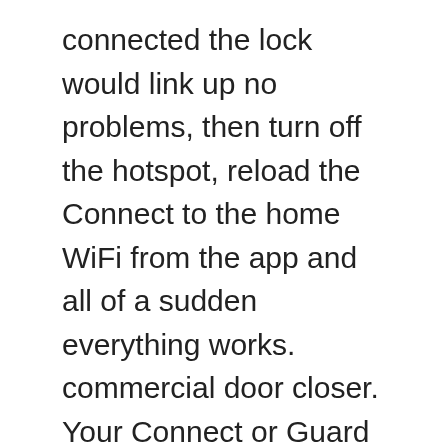connected the lock would link up no problems, then turn off the hotspot, reload the Connect to the home WiFi from the app and all of a sudden everything works. commercial door closer. Your Connect or Guard then uses Wi-Fi to send information from your lock to the Nest app. Pairs easily to the Nest app. Together, we've made a tamper-proof, key-free deadbolt that connects to the Nest app. Nest X Yale Review: Best Smart Lock for Nest Users If you're invested in Nest's smart-home ecosystem, this is the keyless lock to get. The result? In conclusion, as a stand alone product for a 2nd home or vacation home that you do not have regular access to, I wouldn't recommend the lock due to it's inability